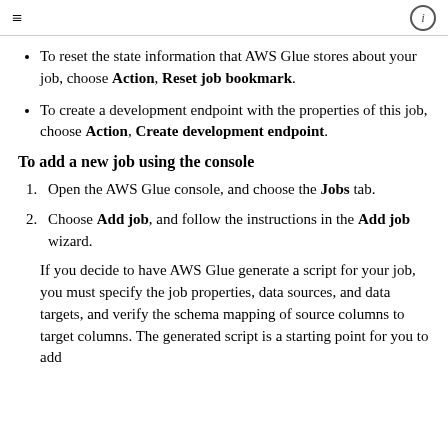≡  ℹ
To reset the state information that AWS Glue stores about your job, choose Action, Reset job bookmark.
To create a development endpoint with the properties of this job, choose Action, Create development endpoint.
To add a new job using the console
1. Open the AWS Glue console, and choose the Jobs tab.
2. Choose Add job, and follow the instructions in the Add job wizard.
If you decide to have AWS Glue generate a script for your job, you must specify the job properties, data sources, and data targets, and verify the schema mapping of source columns to target columns. The generated script is a starting point for you to add